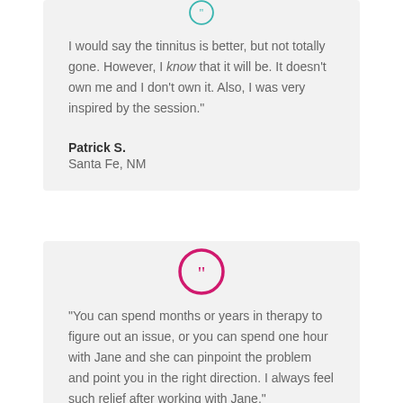[Figure (illustration): Teal circular quote icon with double closing quotation marks, partially cropped at top of page]
I would say the tinnitus is better, but not totally gone. However, I know that it will be. It doesn't own me and I don't own it. Also, I was very inspired by the session."
Patrick S.
Santa Fe, NM
[Figure (illustration): Magenta/pink circular quote icon with double closing quotation marks]
“You can spend months or years in therapy to figure out an issue, or you can spend one hour with Jane and she can pinpoint the problem and point you in the right direction. I always feel such relief after working with Jane."